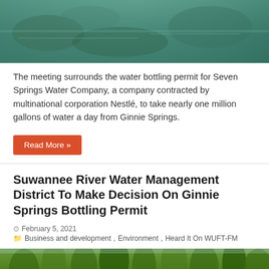[Figure (photo): Aerial or underwater view of Ginnie Springs with teal/green water and vegetation]
The meeting surrounds the water bottling permit for Seven Springs Water Company, a company contracted by multinational corporation Nestlé, to take nearly one million gallons of water a day from Ginnie Springs.
Read More »
Suwannee River Water Management District To Make Decision On Ginnie Springs Bottling Permit
February 5, 2021
Business and development, Environment, Heard It On WUFT-FM
[Figure (photo): Forest/tree line photo related to Ginnie Springs area]